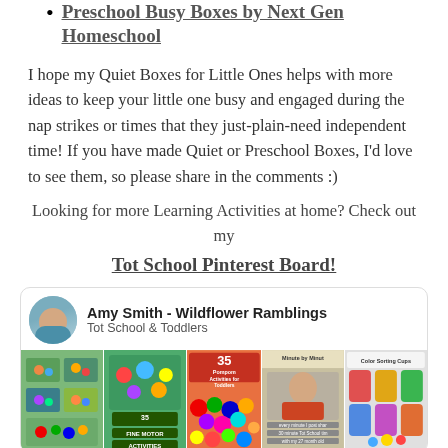Preschool Busy Boxes by Next Gen Homeschool
I hope my Quiet Boxes for Little Ones helps with more ideas to keep your little one busy and engaged during the nap strikes or times that they just-plain-need independent time!  If you have made Quiet or Preschool Boxes, I’d love to see them, so please share in the comments :)
Looking for more Learning Activities at home?  Check out my Tot School Pinterest Board!
[Figure (screenshot): Pinterest board card for Amy Smith - Wildflower Ramblings, Tot School & Toddlers, showing a grid of activity images including Fine Motor Activities and Pompom Activities for Toddlers]